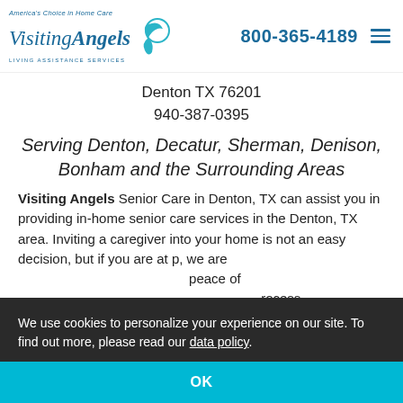America's Choice in Home Care Visiting Angels LIVING ASSISTANCE SERVICES | 800-365-4189
Denton TX 76201
940-387-0395
Serving Denton, Decatur, Sherman, Denison, Bonham and the Surrounding Areas
Visiting Angels Senior Care in Denton, TX can assist you in providing in-home senior care services in the Denton, TX area. Inviting a caregiver into your home is not an easy decision, but if you are at ... p, we are ... peace of ... rocess. ... am, you are ... d living Denton, TX caregiver that we refer to you for
We use cookies to personalize your experience on our site. To find out more, please read our data policy. OK